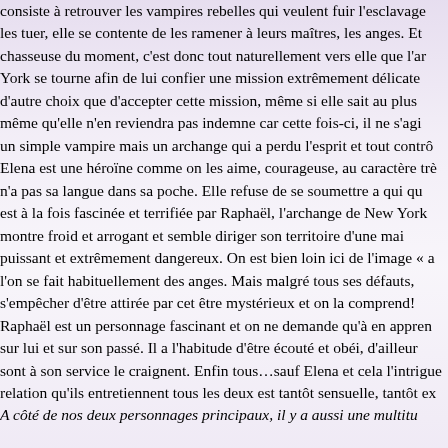consiste à retrouver les vampires rebelles qui veulent fuir l'esclavage les tuer, elle se contente de les ramener à leurs maîtres, les anges. Et chasseuse du moment, c'est donc tout naturellement vers elle que l'ar York se tourne afin de lui confier une mission extrêmement délicate d'autre choix que d'accepter cette mission, même si elle sait au plus même qu'elle n'en reviendra pas indemne car cette fois-ci, il ne s'agi un simple vampire mais un archange qui a perdu l'esprit et tout contr Elena est une héroïne comme on les aime, courageuse, au caractère tr n'a pas sa langue dans sa poche. Elle refuse de se soumettre a qui qu est à la fois fascinée et terrifiée par Raphaël, l'archange de New Yor montre froid et arrogant et semble diriger son territoire d'une ma puissant et extrêmement dangereux. On est bien loin ici de l'image « l'on se fait habituellement des anges. Mais malgré tous ses défauts, s'empêcher d'être attirée par cet être mystérieux et on la comprend! Raphaël est un personnage fascinant et on ne demande qu'à en appre sur lui et sur son passé. Il a l'habitude d'être écouté et obéi, d'ailleu sont à son service le craignent. Enfin tous…sauf Elena et cela l'intrigu relation qu'ils entretiennent tous les deux est tantôt sensuelle, tantôt ex A côté de nos deux personnages principaux, il y a aussi une multitu